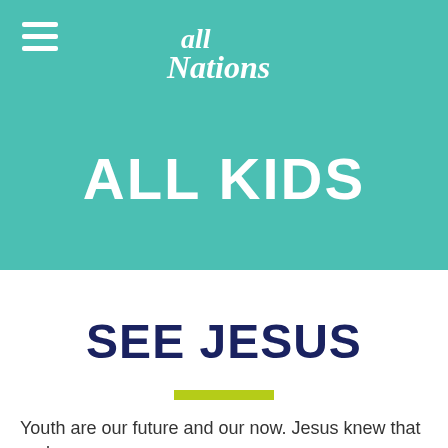All Nations
ALL KIDS
SEE JESUS
Youth are our future and our now. Jesus knew that and